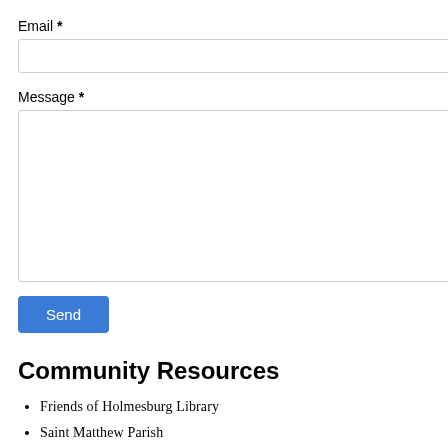Email *
Message *
Send
Community Resources
Friends of Holmesburg Library
Saint Matthew Parish
Saint Timothy Parish
Tacony Civic Association
Holmesburg Civic Association
Upper Holmesburg Civic Association
Mayfair Business Association
15th Police District
May updat PDA Pen donat educa like to May Email Mayf May captu The c Faceb Prize Octob Good May Any c Prese 1. Phi discu 2. Phi